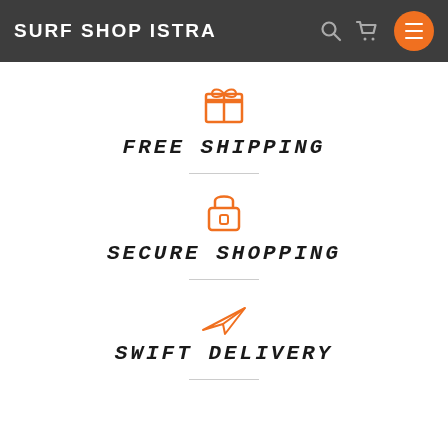SURF SHOP ISTRA
[Figure (infographic): Gift/present box icon in orange, representing FREE SHIPPING feature]
FREE SHIPPING
[Figure (infographic): Padlock icon in orange, representing SECURE SHOPPING feature]
SECURE SHOPPING
[Figure (infographic): Paper plane / send icon in orange, representing SWIFT DELIVERY feature]
SWIFT DELIVERY